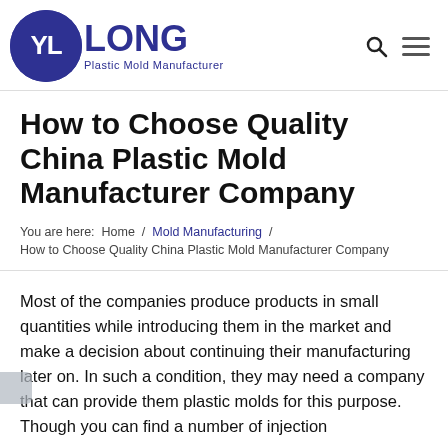[Figure (logo): YL Long Plastic Mold Manufacturer logo with dark blue circle containing 'YL' and 'LONG' text beside it, with 'Plastic Mold Manufacturer' subtitle]
How to Choose Quality China Plastic Mold Manufacturer Company
You are here:  Home  /  Mold Manufacturing  /  How to Choose Quality China Plastic Mold Manufacturer Company
Most of the companies produce products in small quantities while introducing them in the market and make a decision about continuing their manufacturing later on. In such a condition, they may need a company that can provide them plastic molds for this purpose. Though you can find a number of injection